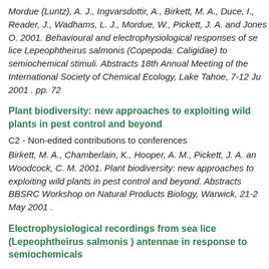Mordue (Luntz), A. J., Ingvarsdottir, A., Birkett, M. A., Duce, I., Reader, J., Wadhams, L. J., Mordue, W., Pickett, J. A. and Jones O. 2001. Behavioural and electrophysiological responses of sea lice Lepeophtheirus salmonis (Copepoda: Caligidae) to semiochemical stimuli. Abstracts 18th Annual Meeting of the International Society of Chemical Ecology, Lake Tahoe, 7-12 Ju 2001 . pp. 72
Plant biodiversity: new approaches to exploiting wild plants in pest control and beyond
C2 - Non-edited contributions to conferences
Birkett, M. A., Chamberlain, K., Hooper, A. M., Pickett, J. A. and Woodcock, C. M. 2001. Plant biodiversity: new approaches to exploiting wild plants in pest control and beyond. Abstracts BBSRC Workshop on Natural Products Biology, Warwick, 21-22 May 2001 .
Electrophysiological recordings from sea lice (Lepeophtheirus salmonis ) antennae in response to semiochemicals